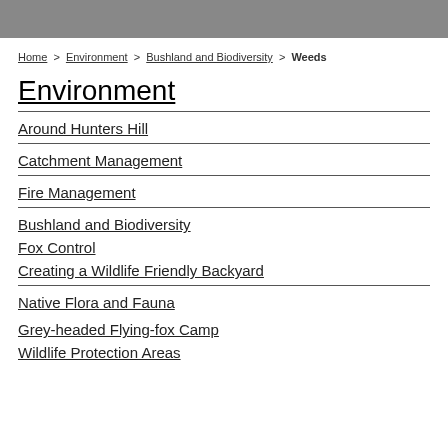Home > Environment > Bushland and Biodiversity > Weeds
Environment
Around Hunters Hill
Catchment Management
Fire Management
Bushland and Biodiversity
Fox Control
Creating a Wildlife Friendly Backyard
Native Flora and Fauna
Grey-headed Flying-fox Camp
Wildlife Protection Areas